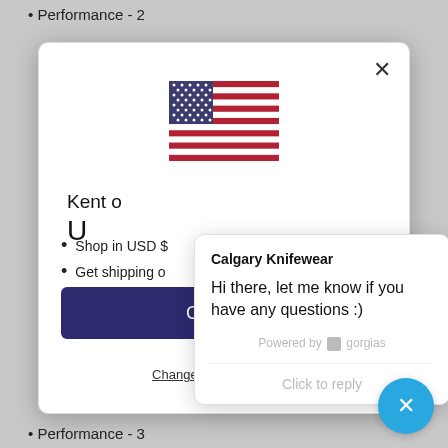Performance - 2
[Figure (screenshot): A modal dialog showing the US flag, shop in USD and get shipping options, a purple continue/shop button, and a change shipping country link. Overlaid by a Gorgias chat popup from Calgary Knifewear.]
Calgary Knifewear
Hi there, let me know if you have any questions :)
Powered by gorgias
Click to reply
Shop in USD $...
Get shipping o...
Change shipping country
Performance - 3